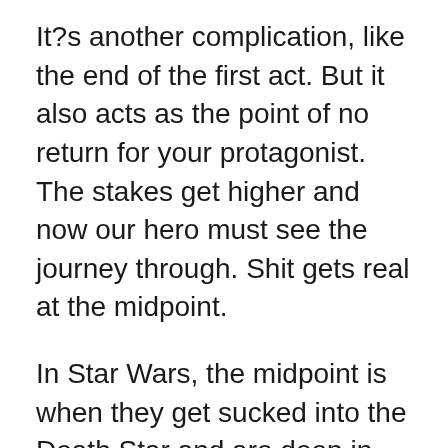It?s another complication, like the end of the first act. But it also acts as the point of no return for your protagonist. The stakes get higher and now our hero must see the journey through. Shit gets real at the midpoint.
In Star Wars, the midpoint is when they get sucked into the Death Star and are deep in enemy territory. In Jurassic Park, it?s when the power gets shut off and all the dinosaurs are loose. In the Cheers pilot, the complication is a bit softer but coincides with the episode?s commercial break. Diane?s fianc Sumner has still not returned from his ex-wife?s house and she?s stuck with these strange people in this strange bar. It?s not a huge beat, but it marks the moment where Diane starts being doubtful